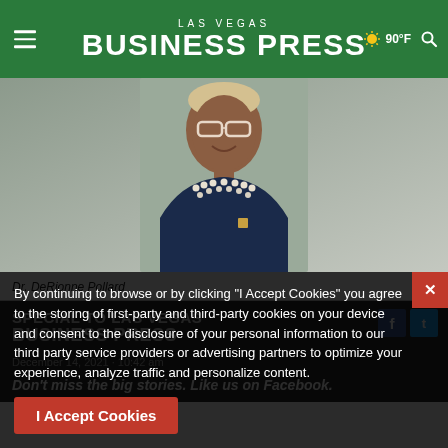LAS VEGAS BUSINESS PRESS
[Figure (photo): Professional headshot of Dr. DeRionne Pollard, a woman with short blonde hair, wearing glasses, a navy sleeveless blazer, and a pearl necklace.]
Dr. DeRionne Pollard
SPECIAL TO LAS VEGAS BUSINESS PRESS
December 14, 2021 · 10:42 am
Don't miss the big stories. Like us on Facebook.
By continuing to browse or by clicking "I Accept Cookies" you agree to the storing of first-party and third-party cookies on your device and consent to the disclosure of your personal information to our third party service providers or advertising partners to optimize your experience, analyze traffic and personalize content.
I Accept Cookies